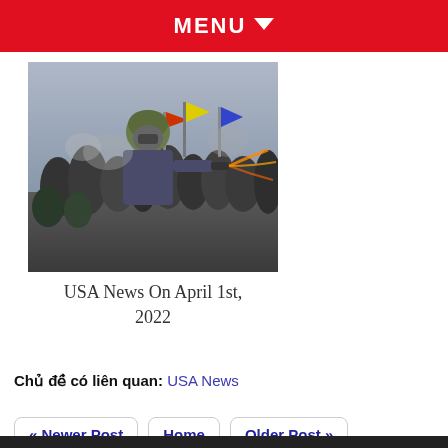MENU
[Figure (photo): Crowd scene with flags and a man in a helmet and gas mask spraying something, appears to be a protest/riot scene at the US Capitol]
USA News On April 1st, 2022
Chủ đề có liên quan: USA News
« Newer Post   Home   Older Post »